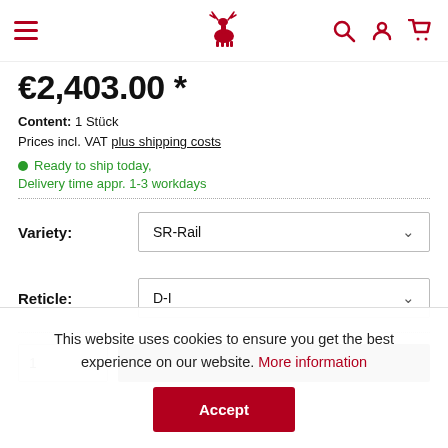Navigation header with hamburger menu, logo, search, account, and cart icons
€2,403.00 *
Content: 1 Stück
Prices incl. VAT plus shipping costs
Ready to ship today, Delivery time appr. 1-3 workdays
Variety: SR-Rail
Reticle: D-I
This website uses cookies to ensure you get the best experience on our website. More information
Accept